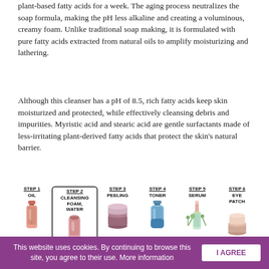plant-based fatty acids for a week. The aging process neutralizes the soap formula, making the pH less alkaline and creating a voluminous, creamy foam. Unlike traditional soap making, it is formulated with pure fatty acids extracted from natural oils to amplify moisturizing and lathering.
Although this cleanser has a pH of 8.5, rich fatty acids keep skin moisturized and protected, while effectively cleansing debris and impurities. Myristic acid and stearic acid are gentle surfactants made of less-irritating plant-derived fatty acids that protect the skin's natural barrier.
[Figure (infographic): 6-step skincare routine infographic. Step 1: Oil (bottle illustration). Step 2: Cleansing Foam, Water (tube/foam cleanser illustration, highlighted with border). Step 3: Peeling (jar illustration). Step 4: Toner (bottle illustration). Step 5: Serum (dropper bottle illustration). Step 6: Eye Patch (jar illustration).]
This website uses cookies. By continuing to browse this site, you agree to their use. More information